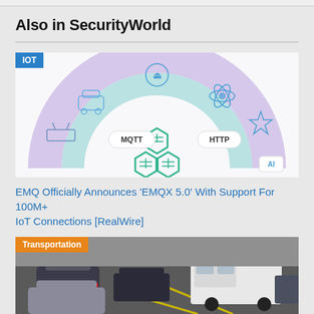Also in SecurityWorld
[Figure (infographic): IoT connectivity diagram showing MQTT and HTTP protocols with honeycomb EMQX logo, surrounded by IoT device icons (router, car, bluetooth, atom, satellite, AI) in a semicircular arc with purple and teal gradient]
EMQ Officially Announces 'EMQX 5.0' With Support For 100M+ IoT Connections [RealWire]
[Figure (photo): Aerial view of urban traffic with multiple cars and a white van on a road with yellow lines]